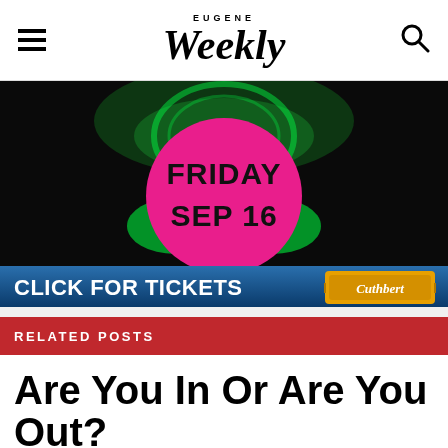EUGENE Weekly
[Figure (photo): Advertisement banner for a Friday Sep 16 event with a dark background featuring a green glowing skull design, a pink circle with 'FRIDAY SEP 16' text, and a blue bottom bar reading 'CLICK FOR TICKETS' with a Cuthbert logo ticket image.]
RELATED POSTS
Are You In Or Are You Out?